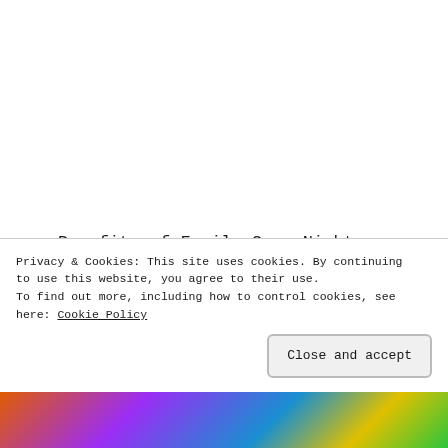Benefits of Family Game Night
How I Cut Cable and Internet…and Lived to Tell About It
10 Ways to Sneak in More Family Time
Sponsored Content
Privacy & Cookies: This site uses cookies. By continuing to use this website, you agree to their use. To find out more, including how to control cookies, see here: Cookie Policy
Close and accept
[Figure (photo): Colorful partial image strip at the bottom of the page showing a vibrant scene]